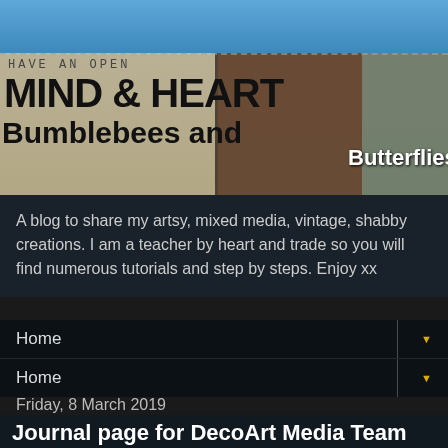[Figure (screenshot): Blog header banner with text 'HAVE AN OPEN MIND & HEART / Bumblebees and Butterflies' on a textured vintage background with butterfly images and a blue sky at top]
A blog to share my artsy, mixed media, vintage, shabby creations. I am a teacher by heart and trade so you will find numerous tutorials and step by steps. Enjoy xx
Home
Home
Friday, 8 March 2019
Journal page for DecoArt Media Team
I have started a new journal and if you missed the cover you can find it here. This is the first page made as a DecoArt Team member for 2019 and I have used real leaves I picked